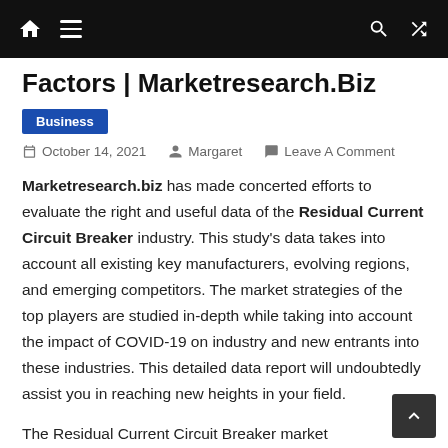Factors | Marketresearch.Biz — navigation bar with home, menu, search, shuffle icons
Factors | Marketresearch.Biz
Business
October 14, 2021   Margaret   Leave A Comment
Marketresearch.biz has made concerted efforts to evaluate the right and useful data of the Residual Current Circuit Breaker industry. This study's data takes into account all existing key manufacturers, evolving regions, and emerging competitors. The market strategies of the top players are studied in-depth while taking into account the impact of COVID-19 on industry and new entrants into these industries. This detailed data report will undoubtedly assist you in reaching new heights in your field.
The Residual Current Circuit Breaker market report is divided into segments and dividers in a global framework. The research provides the most up-to-date production information used by